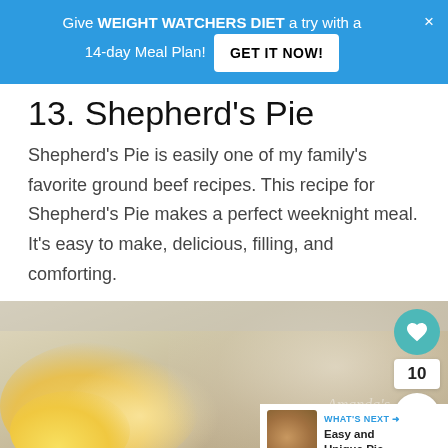Give WEIGHT WATCHERS DIET a try with a 14-day Meal Plan! GET IT NOW!
13. Shepherd's Pie
Shepherd's Pie is easily one of my family's favorite ground beef recipes. This recipe for Shepherd's Pie makes a perfect weeknight meal. It's easy to make, delicious, filling, and comforting.
[Figure (photo): Photo of Shepherd's Pie dish with watermark 'Amanda's COOKING', heart/share buttons, and 10 count badge]
f  p